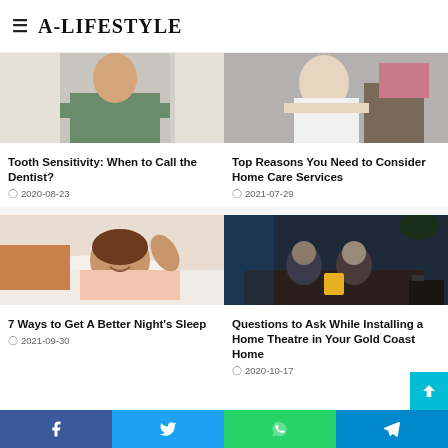A-LIFESTYLE
[Figure (photo): Woman with arms crossed, lifestyle article image for Tooth Sensitivity]
Tooth Sensitivity: When to Call the Dentist?
2020-08-23
[Figure (photo): Woman hugging herself, lifestyle article image for Home Care Services]
Top Reasons You Need to Consider Home Care Services
2021-07-29
[Figure (photo): Woman smiling in bed, lifestyle article image for Better Night's Sleep]
7 Ways to Get A Better Night's Sleep
2021-09-30
[Figure (photo): Two people watching TV in dark room, lifestyle article image for Home Theatre]
Questions to Ask While Installing a Home Theatre in Your Gold Coast Home
2020-10-17